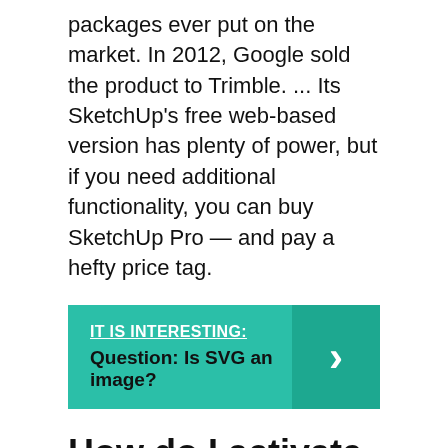packages ever put on the market. In 2012, Google sold the product to Trimble. ... Its SketchUp's free web-based version has plenty of power, but if you need additional functionality, you can buy SketchUp Pro — and pay a hefty price tag.
[Figure (infographic): Teal banner with label 'IT IS INTERESTING:' and question 'Question: Is SVG an image?' with a right-facing chevron arrow on the right side.]
How do I activate SketchUp Pro 2020?
You may want to right-click on the new icon in your dock, and select Options > Keep in Dock. On Windows, SketchUp should have